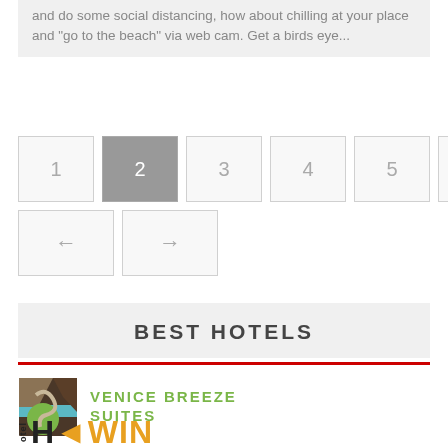and do some social distancing, how about chilling at your place and "go to the beach" via web cam. Get a birds eye...
[Figure (other): Pagination widget with page numbers 1–6, page 2 highlighted in gray, and previous/next arrow buttons]
BEST HOTELS
[Figure (logo): Venice Breeze Suites logo: abstract VS icon with green/brown geometric shapes and green text reading VENICE BREEZE SUITES]
[Figure (logo): Hotel Erwin logo: text reading 'Hotel ERWIN' with a reversed R in orange/gold color]